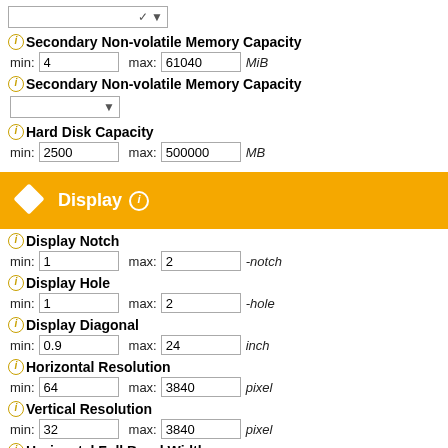Secondary Non-volatile Memory Capacity (dropdown)
Secondary Non-volatile Memory Capacity min: 4 max: 61040 MiB
Secondary Non-volatile Memory Capacity (dropdown)
Hard Disk Capacity min: 2500 max: 500000 MB
Display
Display Notch min: 1 max: 2 -notch
Display Hole min: 1 max: 2 -hole
Display Diagonal min: 0.9 max: 24 inch
Horizontal Resolution min: 64 max: 3840 pixel
Vertical Resolution min: 32 max: 3840 pixel
Horizontal Full Bezel Width min: 7.98 max: 7.98 mm
Display Area Utilization min: 7.6 max: 99.9 %
Pixel Density